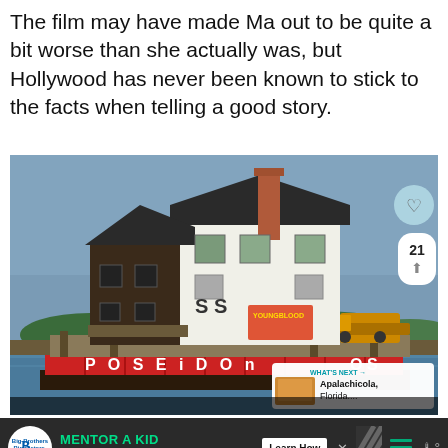The film may have made Ma out to be quite a bit worse than she actually was, but Hollywood has never been known to stick to the facts when telling a good story.
[Figure (photo): A two-story white house being transported on a barge labeled 'POSEIDON' across water, with construction equipment visible on the barge. Social media UI overlays visible including heart/like button, share count of 21, and a 'What's Next' panel showing Apalachicola, Florida.]
[Figure (other): Advertisement banner: Big Brothers Big Sisters logo, text 'MENTOR A KID IN YOUR COMMUNITY.', Learn How button, decorative diagonal stripes, hamburger menu icon, and weather widget icon.]